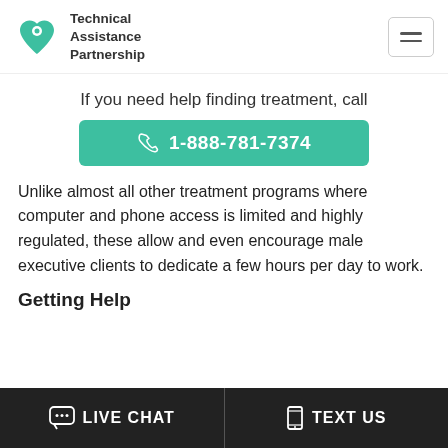Technical Assistance Partnership
If you need help finding treatment, call
1-888-781-7374
Unlike almost all other treatment programs where computer and phone access is limited and highly regulated, these allow and even encourage male executive clients to dedicate a few hours per day to work.
Getting Help
LIVE CHAT   TEXT US